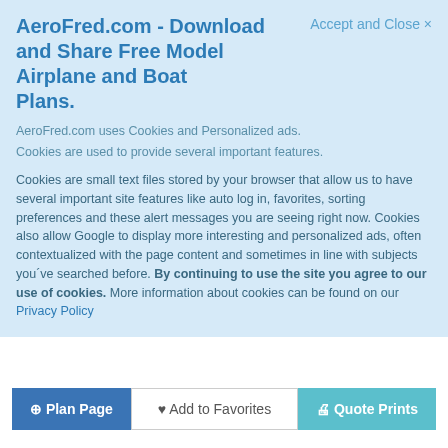AeroFred.com - Download and Share Free Model Airplane and Boat Plans.
AeroFred.com uses Cookies and Personalized ads.
Cookies are used to provide several important features.
Cookies are small text files stored by your browser that allow us to have several important site features like auto log in, favorites, sorting preferences and these alert messages you are seeing right now. Cookies also allow Google to display more interesting and personalized ads, often contextualized with the page content and sometimes in line with subjects you've searched before. By continuing to use the site you agree to our use of cookies. More information about cookies can be found on our Privacy Policy
| File Size: | 654.0 KB |
| Added: | 08/11/2021 13:12 |
| Updated: | 08/11/21 01:15:45pm |